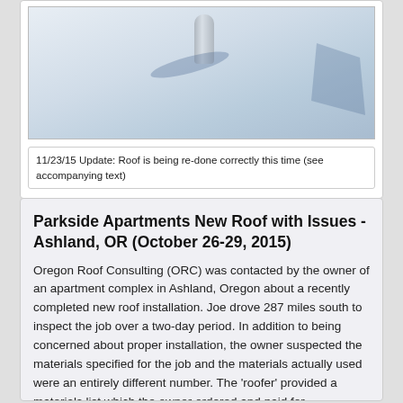[Figure (photo): Photo of a roof surface showing a pipe/vent with blue-gray shadows cast on a light-colored roofing material]
11/23/15 Update: Roof is being re-done correctly this time (see accompanying text)
Parkside Apartments New Roof with Issues - Ashland, OR (October 26-29, 2015)
Oregon Roof Consulting (ORC) was contacted by the owner of an apartment complex in Ashland, Oregon about a recently completed new roof installation. Joe drove 287 miles south to inspect the job over a two-day period. In addition to being concerned about proper installation, the owner suspected the materials specified for the job and the materials actually used were an entirely different number. The 'roofer' provided a materials list which the owner ordered and paid for.